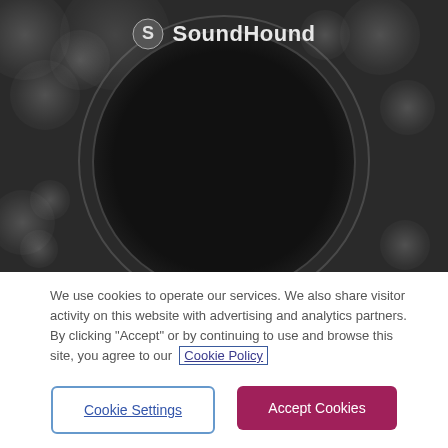[Figure (screenshot): SoundHound app screenshot: dark background with bokeh circles and a large black circle in the center, SoundHound logo at top]
We use cookies to operate our services. We also share visitor activity on this website with advertising and analytics partners. By clicking "Accept" or by continuing to use and browse this site, you agree to our Cookie Policy
Cookie Settings
Accept Cookies